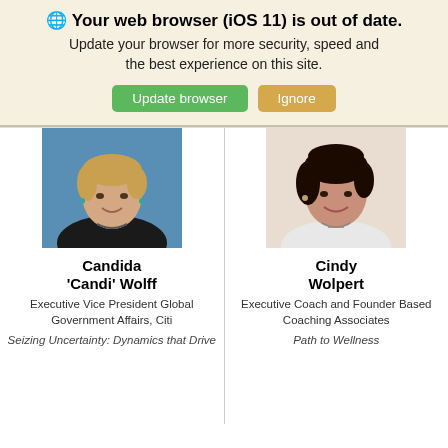🌐 Your web browser (iOS 11) is out of date. Update your browser for more security, speed and the best experience on this site. Update browser | Ignore
[Figure (photo): Headshot of Candida 'Candi' Wolff, a woman with blonde hair wearing a black top, photographed in front of a blue background]
Candida 'Candi' Wolff
Executive Vice President Global Government Affairs, Citi
Seizing Uncertainty: Dynamics that Drive
[Figure (photo): Headshot of Cindy Wolpert, a woman with dark hair, smiling, wearing a light top with a necklace]
Cindy Wolpert
Executive Coach and Founder Based Coaching Associates
Path to Wellness